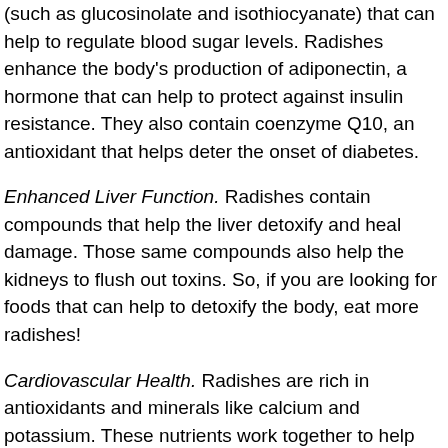(such as glucosinolate and isothiocyanate) that can help to regulate blood sugar levels. Radishes enhance the body's production of adiponectin, a hormone that can help to protect against insulin resistance. They also contain coenzyme Q10, an antioxidant that helps deter the onset of diabetes.
Enhanced Liver Function. Radishes contain compounds that help the liver detoxify and heal damage. Those same compounds also help the kidneys to flush out toxins. So, if you are looking for foods that can help to detoxify the body, eat more radishes!
Cardiovascular Health. Radishes are rich in antioxidants and minerals like calcium and potassium. These nutrients work together to help reduce high blood pressure, which would in turn, reduce your risk for heart disease. Radishes are also a